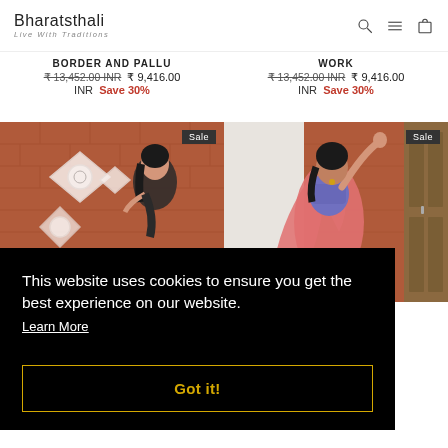Bharatsthali – Live With Traditions
BORDER AND PALLU ₹ 13,452.00 INR ₹ 9,416.00 INR Save 30%
WORK ₹ 13,452.00 INR ₹ 9,416.00 INR Save 30%
[Figure (photo): Woman in grey saree posing in front of brick wall with decorative white pattern. Sale badge in top right corner.]
[Figure (photo): Woman in pink saree posing with arm raised. Brick wall and wooden doors in background. Sale badge in top right corner.]
This website uses cookies to ensure you get the best experience on our website. Learn More
Got it!